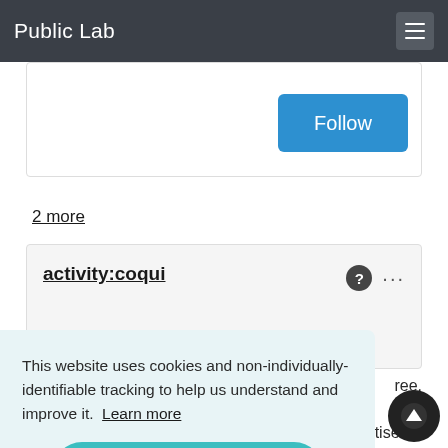Public Lab
Follow
2 more
activity:coqui
This website uses cookies and non-individually-identifiable tracking to help us understand and improve it.  Learn more
Got it!
researchers and tap into a lot of grassroots expertise.